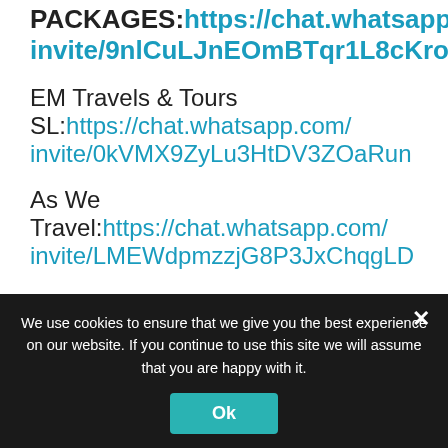PHILIPPINE TOUR PACKAGES: https://chat.whatsapp.com/invite/9nlCuLJnEOmBTqr1L8cKro
EM Travels & Tours SL: https://chat.whatsapp.com/invite/0kVMX9ZyLu3HtDV3ZOaRun
As We Travel: https://chat.whatsapp.com/invite/LMEWdpmzzjG8P3JxChqgLD
How to Join the Tourism WhatsApp Group?
We use cookies to ensure that we give you the best experience on our website. If you continue to use this site we will assume that you are happy with it.